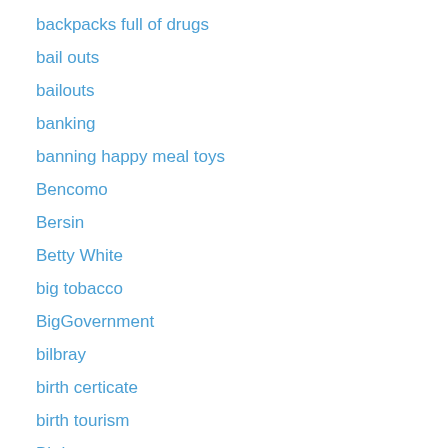backpacks full of drugs
bail outs
bailouts
banking
banning happy meal toys
Bencomo
Bersin
Betty White
big tobacco
BigGovernment
bilbray
birth certicate
birth tourism
Birthers
birthright citizenship
Black unemployment
blacks running for office
blm signs
bloomberg
blue cross